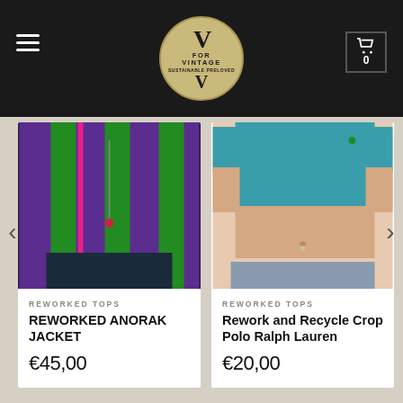V for Vintage — navigation header with logo and cart
[Figure (photo): Product photo of a reworked anorak jacket with purple, green, and pink vertical stripes]
REWORKED TOPS
REWORKED ANORAK JACKET
€45,00
[Figure (photo): Product photo of a person wearing a teal crop top (Rework and Recycle Crop Polo Ralph Lauren)]
REWORKED TOPS
Rework and Recycle Crop Polo Ralph Lauren
€20,00